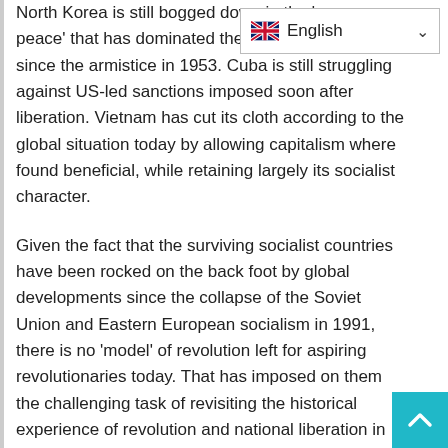North Korea is still bogged down in the 'no war, no peace' that has dominated the Korean peninsula since the armistice in 1953. Cuba is still struggling against US-led sanctions imposed soon after liberation. Vietnam has cut its cloth according to the global situation today by allowing capitalism where found beneficial, while retaining largely its socialist character.

Given the fact that the surviving socialist countries have been rocked on the back foot by global developments since the collapse of the Soviet Union and Eastern European socialism in 1991, there is no 'model' of revolution left for aspiring revolutionaries today. That has imposed on them the challenging task of revisiting the historical experience of revolution and national liberation in the 20th century, educating themselves about the 'new world' in the 21st century, and formulating Marxist revolutionary strategy in the changed